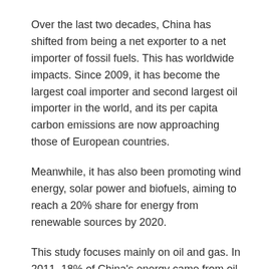Over the last two decades, China has shifted from being a net exporter to a net importer of fossil fuels. This has worldwide impacts. Since 2009, it has become the largest coal importer and second largest oil importer in the world, and its per capita carbon emissions are now approaching those of European countries.
Meanwhile, it has also been promoting wind energy, solar power and biofuels, aiming to reach a 20% share for energy from renewable sources by 2020.
This study focuses mainly on oil and gas. In 2011, 18% of China's energy came from oil. However, more than half of the oil consumed was imported from other countries, largely the Middle East, Africa, Russia, Central Asia and Latin America.